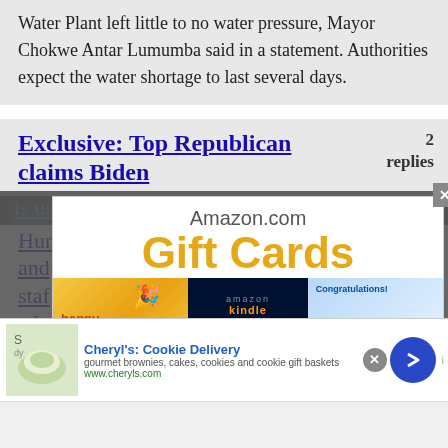Water Plant left little to no water pressure, Mayor Chokwe Antar Lumumba said in a statement. Authorities expect the water shortage to last several days.
Exclusive: Top Republican claims Biden is using the government to protect Hunter and staffers who pushed 'Russia' interference
2 replies
[Figure (screenshot): Amazon.com Gift Cards popup advertisement showing three gift card designs: happy birthday, Amazon Kindle, and Congratulations]
[Figure (infographic): Bottom banner ad for Cheryl's: Cookie Delivery. Shows cookie image, text: gourmet brownies, cakes, cookies and cookie gift baskets. www.cheryls.com. Has a blue circular arrow button.]